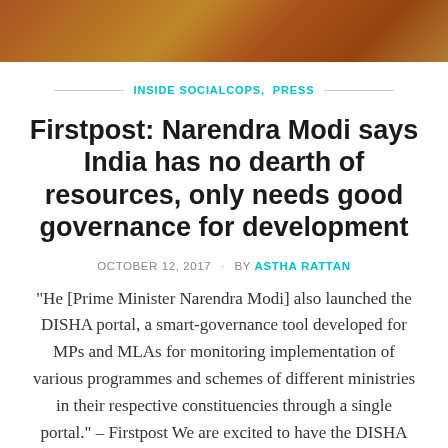[Figure (photo): Partial photo of people in orange/yellow clothing, cropped at top of page]
INSIDE SOCIALCOPS,  PRESS
Firstpost: Narendra Modi says India has no dearth of resources, only needs good governance for development
OCTOBER 12, 2017  ·  BY ASTHA RATTAN
“He [Prime Minister Narendra Modi] also launched the DISHA portal, a smart-governance tool developed for MPs and MLAs for monitoring implementation of various programmes and schemes of different ministries in their respective constituencies through a single portal.” – Firstpost We are excited to have the DISHA Dashboard — one of…